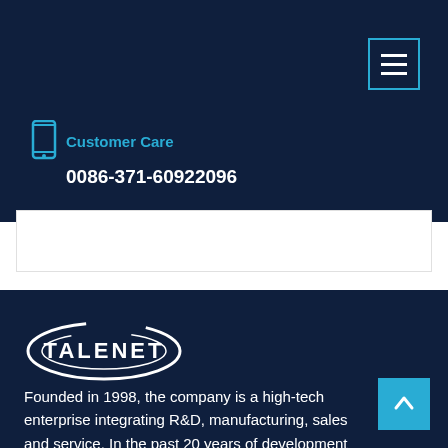Customer Care
0086-371-60922096
[Figure (logo): Talenet company logo — white ellipse/swoosh with TALENET text in white bold font on dark navy background]
Founded in 1998, the company is a high-tech enterprise integrating R&D, manufacturing, sales and service. In the past 20 years of development and innovation, its products have been